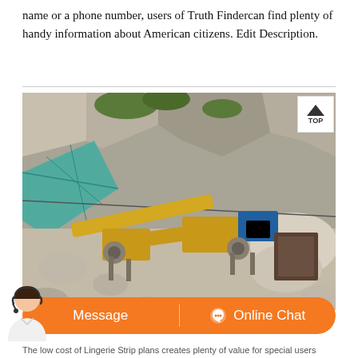name or a phone number, users of Truth Findercan find plenty of handy information about American citizens. Edit Description.
[Figure (photo): Aerial view of a quarry or mining site with industrial crushing/conveyor equipment in a rocky mountain area. Green netting visible on hillside, blue machinery, yellow conveyor belts.]
The low cost of Lingerie Strip plans creates plenty of value for special users